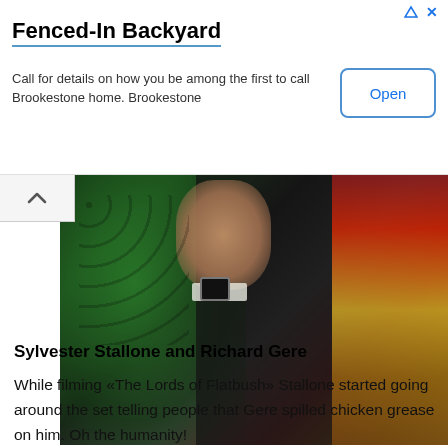[Figure (screenshot): Advertisement banner: Fenced-In Backyard. Call for details on how you be among the first to call Brookestone home. Brookestone. Open button on right side.]
[Figure (photo): Photo showing people in colorful clothing — green patterned fabric, dark suit, red and yellow patterned fabric. A raised fist with a watch is visible.]
Sylvester Stallone and Richard Gere
While filming «The Lords of Flatbush» Stallone started going around the set telling people that Gere spilled chicken grease on him. Oh the humanity!
[Figure (photo): Split photo showing two men side by side. Left: man with silver/gray hair. Right: man with dark hair in front of a red text background reading 'HE M'.]